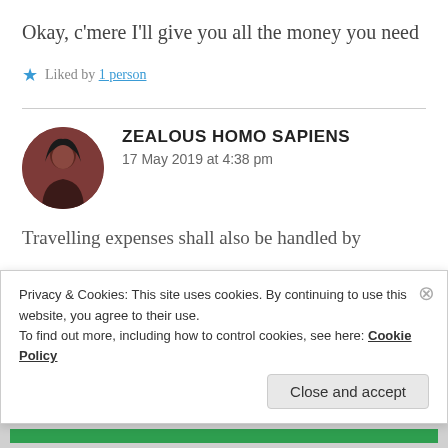Okay, c’mere I’ll give you all the money you need
★ Liked by 1 person
ZEALOUS HOMO SAPIENS
17 May 2019 at 4:38 pm
Travelling expenses shall also be handled by
Privacy & Cookies: This site uses cookies. By continuing to use this website, you agree to their use.
To find out more, including how to control cookies, see here: Cookie Policy